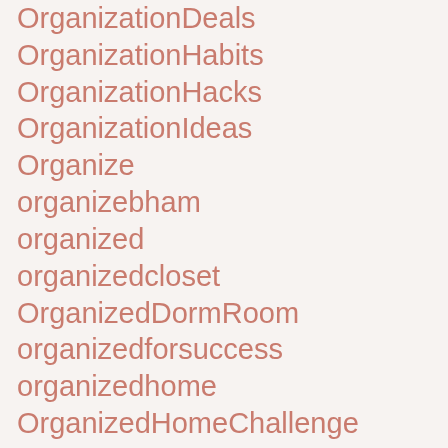OrganizationDeals
OrganizationHabits
OrganizationHacks
OrganizationIdeas
Organize
organizebham
organized
organizedcloset
OrganizedDormRoom
organizedforsuccess
organizedhome
OrganizedHomeChallenge
organizedkidsroom
organizedlife
organizedliving